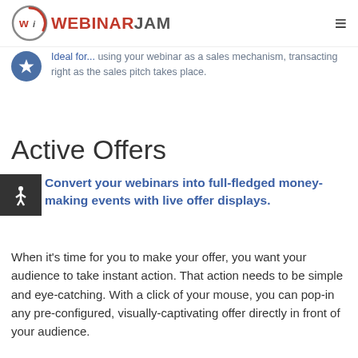WebinarJam
Ideal for... using your webinar as a sales mechanism, transacting right as the sales pitch takes place.
Active Offers
Convert your webinars into full-fledged money-making events with live offer displays.
When it's time for you to make your offer, you want your audience to take instant action. That action needs to be simple and eye-catching. With a click of your mouse, you can pop-in any pre-configured, visually-captivating offer directly in front of your audience.